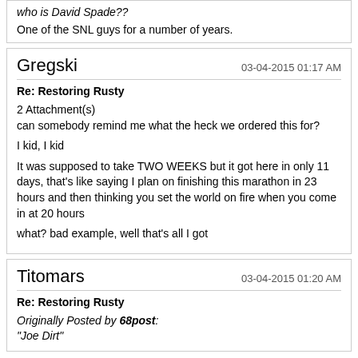who is David Spade??
One of the SNL guys for a number of years.
Gregski
03-04-2015 01:17 AM
Re: Restoring Rusty
2 Attachment(s)
can somebody remind me what the heck we ordered this for?
I kid, I kid
It was supposed to take TWO WEEKS but it got here in only 11 days, that's like saying I plan on finishing this marathon in 23 hours and then thinking you set the world on fire when you come in at 20 hours
what? bad example, well that's all I got
Titomars
03-04-2015 01:20 AM
Re: Restoring Rusty
Originally Posted by 68post:
"Joe Dirt"